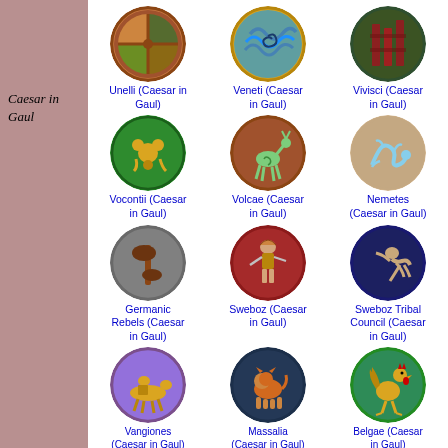Caesar in Gaul
[Figure (illustration): Circular coin/emblem for Unelli (Caesar in Gaul) - brownish-red with geometric cross pattern on green segments]
Unelli (Caesar in Gaul)
[Figure (illustration): Circular coin/emblem for Veneti (Caesar in Gaul) - blue-green with spiral wave pattern]
Veneti (Caesar in Gaul)
[Figure (illustration): Circular coin/emblem for Vivisci (Caesar in Gaul) - dark with red pillar-like shapes]
Vivisci (Caesar in Gaul)
[Figure (illustration): Circular coin/emblem for Vocontii (Caesar in Gaul) - green with yellow animal figure]
Vocontii (Caesar in Gaul)
[Figure (illustration): Circular coin/emblem for Volcae (Caesar in Gaul) - brown-red with green stag/deer figure]
Volcae (Caesar in Gaul)
[Figure (illustration): Circular coin/emblem for Nemetes (Caesar in Gaul) - tan/brown with blue serpentine dragon]
Nemetes (Caesar in Gaul)
[Figure (illustration): Circular coin/emblem for Germanic Rebels (Caesar in Gaul) - gray-green with brown axe/tree figure]
Germanic Rebels (Caesar in Gaul)
[Figure (illustration): Circular coin/emblem for Sweboz (Caesar in Gaul) - deep red with helmeted warrior figure]
Sweboz (Caesar in Gaul)
[Figure (illustration): Circular coin/emblem for Sweboz Tribal Council (Caesar in Gaul) - dark blue with leaping figure]
Sweboz Tribal Council (Caesar in Gaul)
[Figure (illustration): Circular coin/emblem for Vangiones (Caesar in Gaul) - purple with mounted rider figure in gold]
Vangiones (Caesar in Gaul)
[Figure (illustration): Circular coin/emblem for Massalia (Caesar in Gaul) - dark blue with orange lion figure]
Massalia (Caesar in Gaul)
[Figure (illustration): Circular coin/emblem for Belgae (Caesar in Gaul) - green with rooster figure in gold]
Belgae (Caesar in Gaul)
[Figure (illustration): Circular coin/emblem (partial, row 5) - green/brown tones]
[Figure (illustration): Circular coin/emblem (partial, row 5) - dark tones]
[Figure (illustration): Circular coin/emblem (partial, row 5) - golden tones with figure]